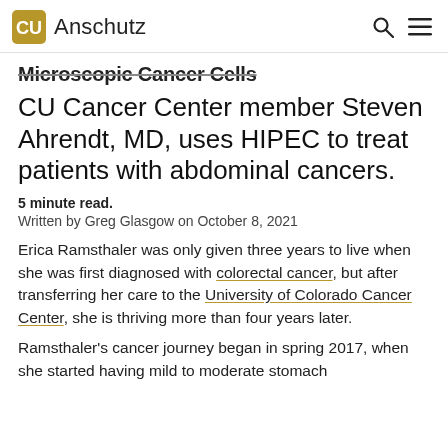CU Anschutz
Microscopic Cancer Cells
CU Cancer Center member Steven Ahrendt, MD, uses HIPEC to treat patients with abdominal cancers.
5 minute read.
Written by Greg Glasgow on October 8, 2021
Erica Ramsthaler was only given three years to live when she was first diagnosed with colorectal cancer, but after transferring her care to the University of Colorado Cancer Center, she is thriving more than four years later.
Ramsthaler's cancer journey began in spring 2017, when she started having mild to moderate stomach